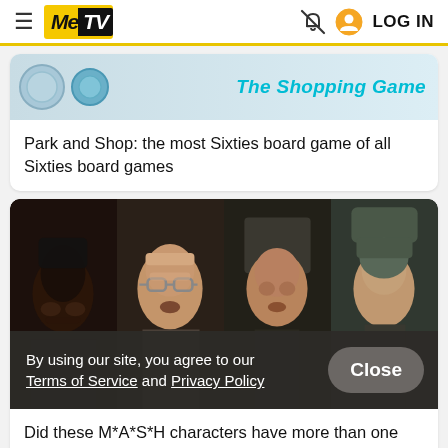MeTV — LOG IN
[Figure (screenshot): The Shopping Game board game image with two circular badges on the left and the italic cyan text 'The Shopping Game' on the right]
Park and Shop: the most Sixties board game of all Sixties board games
[Figure (photo): A collage of four MASH TV show characters' faces side by side, partially overlaid by a cookie consent banner]
By using our site, you agree to our Terms of Service and Privacy Policy
Close
Did these M*A*S*H characters have more than one actor?